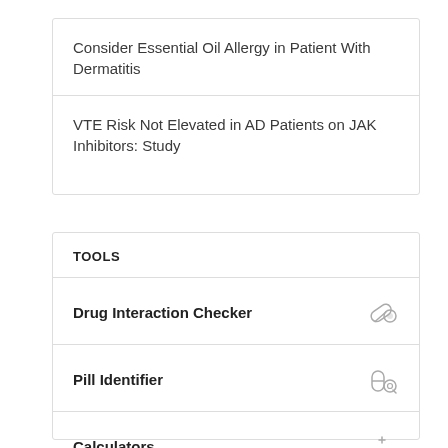Consider Essential Oil Allergy in Patient With Dermatitis
VTE Risk Not Elevated in AD Patients on JAK Inhibitors: Study
TOOLS
Drug Interaction Checker
Pill Identifier
Calculators